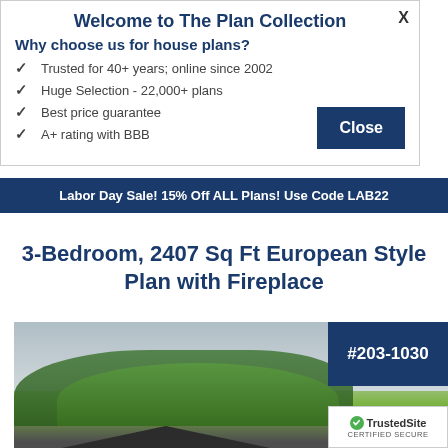Welcome to The Plan Collection
Why choose us for house plans?
Trusted for 40+ years; online since 2002
Huge Selection - 22,000+ plans
Best price guarantee
A+ rating with BBB
Close
Labor Day Sale! 15% Off ALL Plans! Use Code LAB22
3-Bedroom, 2407 Sq Ft European Style Plan with Fireplace
[Figure (photo): Exterior rendering of a European style house with trees and dark roof, with plan number badge #203-1030]
TrustedSite CERTIFIED SECURE